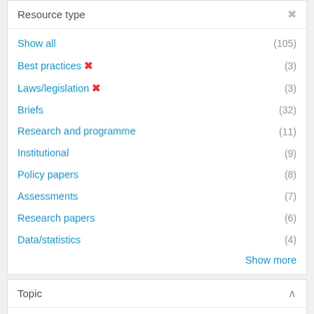Resource type
Show all (105)
Best practices ✕ (3)
Laws/legislation ✕ (3)
Briefs (32)
Research and programme (11)
Institutional (9)
Policy papers (8)
Assessments (7)
Research papers (6)
Data/statistics (4)
Show more
Topic
Gender equality and women's empowerment (3)
Sustainable Development Goals (SDGs) (3)